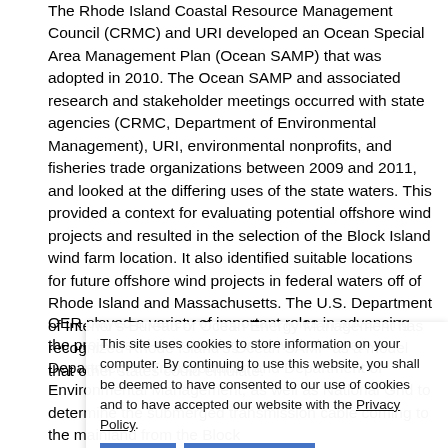The Rhode Island Coastal Resource Management Council (CRMC) and URI developed an Ocean Special Area Management Plan (Ocean SAMP) that was adopted in 2010. The Ocean SAMP and associated research and stakeholder meetings occurred with state agencies (CRMC, Department of Environmental Management), URI, environmental nonprofits, and fisheries trade organizations between 2009 and 2011, and looked at the differing uses of the state waters. This provided a context for evaluating potential offshore wind projects and resulted in the selection of the Block Island wind farm location. It also identified suitable locations for future offshore wind projects in federal waters off of Rhode Island and Massachusetts. The U.S. Department of Interior's Bureau of Ocean Energy Management has recognized Rhode Island's Ocean SAMP as a model that other states could emulate.
OER played a variety of important roles in advancing the proj... and t... re... with the state's Department of Transportation and Department of Environmental Management, as well as National Grid to determine the submerged transmission cable coming to the mainland from the Block Island...
This site uses cookies to store information on your computer. By continuing to use this website, you shall be deemed to have consented to our use of cookies and to have accepted our website with the Privacy Policy.